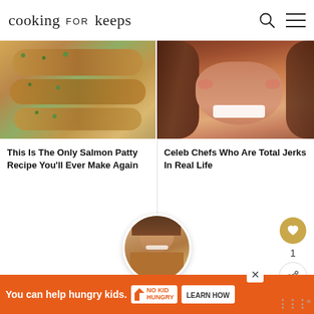cooking for keeps
[Figure (photo): Stacked salmon patties with green herbs on a white plate]
[Figure (photo): Close-up portrait of a smiling celebrity chef with brown hair]
This Is The Only Salmon Patty Recipe You'll Ever Make Again
Celeb Chefs Who Are Total Jerks In Real Life
[Figure (photo): Circular profile photo of a woman in a brown blouse smiling in a kitchen]
Meet Nicole
We ... icious
[Figure (infographic): Advertisement banner: You can help hungry kids. No Kid Hungry. LEARN HOW]